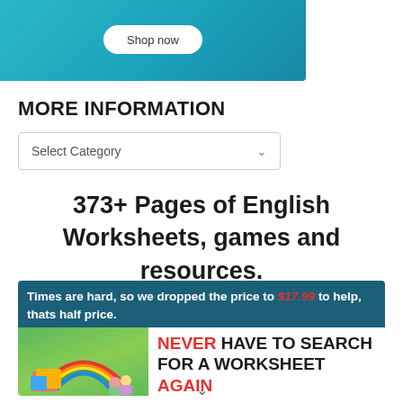[Figure (illustration): Teal/cyan banner with 'Shop now' button]
MORE INFORMATION
[Figure (screenshot): Dropdown select box labeled 'Select Category' with chevron arrow]
373+ Pages of English Worksheets, games and resources.
[Figure (infographic): Advertisement banner: 'Times are hard, so we dropped the price to $17.99 to help, thats half price.' with 'NEVER HAVE TO SEARCH FOR A WORKSHEET AGAIN' text on white background, and colorful book images on green background.]